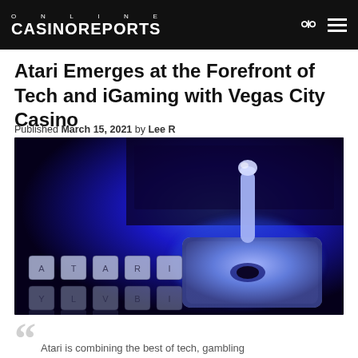ONLINE CASINOREPORTS
Atari Emerges at the Forefront of Tech and iGaming with Vegas City Casino
Published March 15, 2021 by Lee R
[Figure (photo): Blue-lit Atari joystick on a dark background with keyboard keys spelling ATARI in the foreground]
Atari is combining the best of tech, gambling